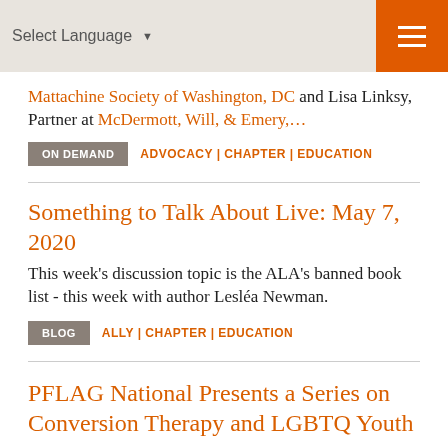Select Language
Mattachine Society of Washington, DC and Lisa Linksy, Partner at McDermott, Will, & Emery,...
ON DEMAND   ADVOCACY | CHAPTER | EDUCATION
Something to Talk About Live: May 7, 2020
This week's discussion topic is the ALA's banned book list - this week with author Lesléa Newman.
BLOG   ALLY | CHAPTER | EDUCATION
PFLAG National Presents a Series on Conversion Therapy and LGBTQ Youth